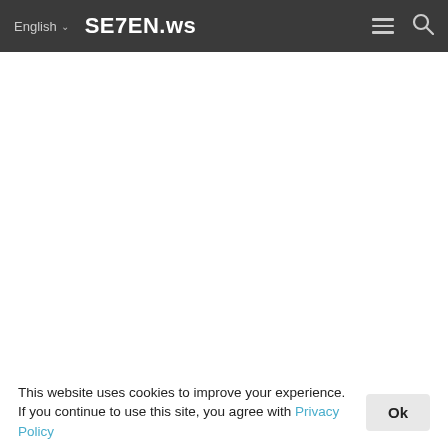English  SE7EN.ws
Source
This website uses cookies to improve your experience. If you continue to use this site, you agree with Privacy Policy  Ok